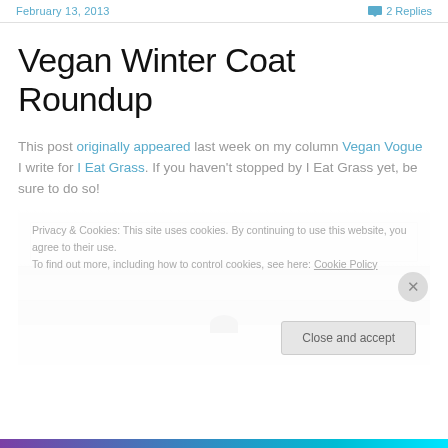February 13, 2013   2 Replies
Vegan Winter Coat Roundup
This post originally appeared last week on my column Vegan Vogue I write for I Eat Grass. If you haven't stopped by I Eat Grass yet, be sure to do so!
[Figure (photo): Partial photo of a white coat or garment rack with a cookie consent overlay banner at the bottom]
Privacy & Cookies: This site uses cookies. By continuing to use this website, you agree to their use. To find out more, including how to control cookies, see here: Cookie Policy
Close and accept